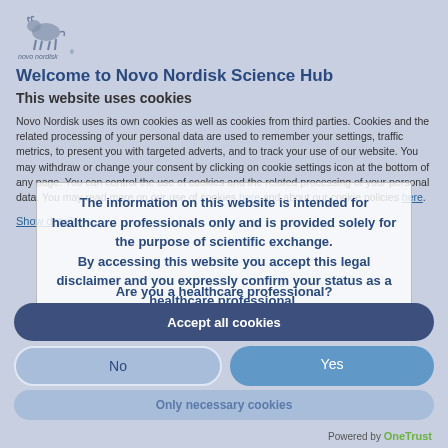[Figure (logo): Novo Nordisk logo with bull figure and text 'novo nordisk']
Welcome to Novo Nordisk Science Hub
This website uses cookies
Novo Nordisk uses its own cookies as well as cookies from third parties. Cookies and the related processing of your personal data are used to remember your settings, traffic metrics, to present you with targeted adverts, and to track your use of our website. You may withdraw or change your consent by clicking on cookie settings icon at the bottom of any page. You can control the use of cookies and the related processing of your personal data. You may read more on our use of cookies here and about our cookie policies here.
Show details
The information on this website is intended for healthcare professionals only and is provided solely for the purpose of scientific exchange. By accessing this website you accept this legal disclaimer and you expressly confirm your status as a healthcare professional.
Are you a healthcare professional?
Accept all cookies
No
Yes
Only necessary cookies
Powered by OneTrust